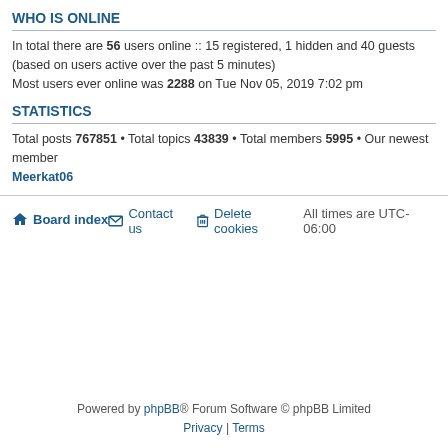WHO IS ONLINE
In total there are 56 users online :: 15 registered, 1 hidden and 40 guests (based on users active over the past 5 minutes)
Most users ever online was 2288 on Tue Nov 05, 2019 7:02 pm
STATISTICS
Total posts 767851 • Total topics 43839 • Total members 5995 • Our newest member Meerkat06
Board index   Contact us   Delete cookies   All times are UTC-06:00
Powered by phpBB® Forum Software © phpBB Limited
Privacy | Terms